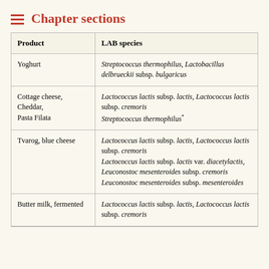Chapter sections
| Product | LAB species |
| --- | --- |
| Yoghurt | Streptococcus thermophilus, Lactobacillus delbrueckii subsp. bulgaricus |
| Cottage cheese, Cheddar, Pasta Filata | Lactococcus lactis subsp. lactis, Lactococcus lactis subsp. cremoris
Streptococcus thermophilus* |
| Tvarog, blue cheese | Lactococcus lactis subsp. lactis, Lactococcus lactis subsp. cremoris
Lactococcus lactis subsp. lactis var. diacetylactis,
Leuconostoc mesenteroides subsp. cremoris
Leuconostoc mesenteroides subsp. mesenteroides |
| Butter milk, fermented | Lactococcus lactis subsp. lactis, Lactococcus lactis subsp. cremoris |